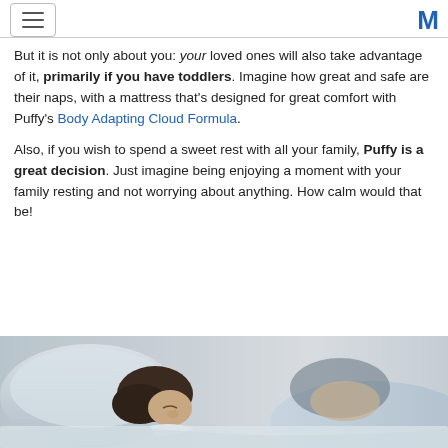[hamburger menu] [M logo]
But it is not only about you: your loved ones will also take advantage of it, primarily if you have toddlers. Imagine how great and safe are their naps, with a mattress that's designed for great comfort with Puffy's Body Adapting Cloud Formula.
Also, if you wish to spend a sweet rest with all your family, Puffy is a great decision. Just imagine being enjoying a moment with your family resting and not worrying about anything. How calm would that be!
[Figure (photo): A couple sleeping in bed, seen from the side, with white pillows and bedding, soft blue-grey tones.]